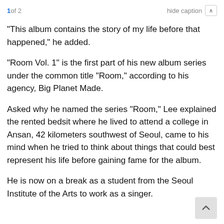1 of 2   hide caption ∧
"This album contains the story of my life before that happened," he added.
"Room Vol. 1" is the first part of his new album series under the common title "Room," according to his agency, Big Planet Made.
Asked why he named the series "Room," Lee explained the rented bedsit where he lived to attend a college in Ansan, 42 kilometers southwest of Seoul, came to his mind when he tried to think about things that could best represent his life before gaining fame for the album.
He is now on a break as a student from the Seoul Institute of the Arts to work as a singer.